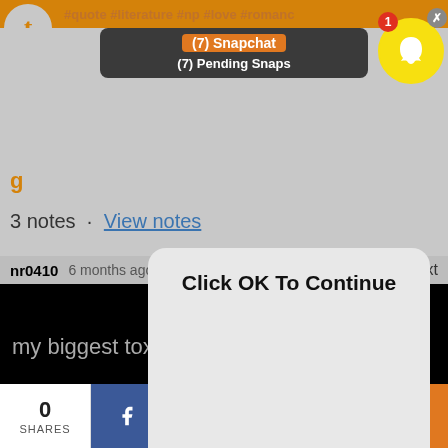[Figure (screenshot): Mobile screenshot showing Tumblr app with Snapchat notification overlay and a dialog box saying 'Click OK To Continue' with an OK button, and a share bar at the bottom.]
(7) Snapchat
(7) Pending Snaps
g
3 notes · View notes
nr0410  6 months ago  Text
Click OK To Continue
OK
my biggest toxic trait is .. I know how to
0
SHARES